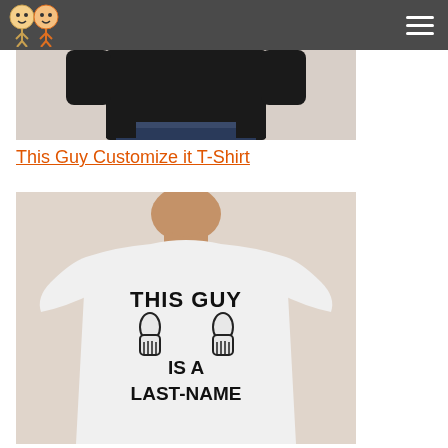[Figure (photo): Man wearing a dark black t-shirt, torso view]
This Guy Customize it T-Shirt
[Figure (photo): Man wearing a white t-shirt that reads THIS GUY IS A LAST-NAME with two thumbs up graphic]